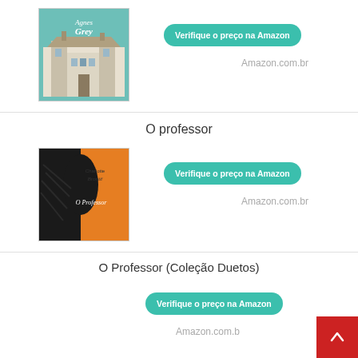[Figure (illustration): Book cover of Agnes Grey — teal/blue illustrated cover showing a Victorian building]
Verifique o preço na Amazon
Amazon.com.br
O professor
[Figure (illustration): Book cover of O Professor by Charlotte Brontë — orange and black illustrated cover]
Verifique o preço na Amazon
Amazon.com.br
O Professor (Coleção Duetos)
Verifique o preço na Amazon
Amazon.com.b